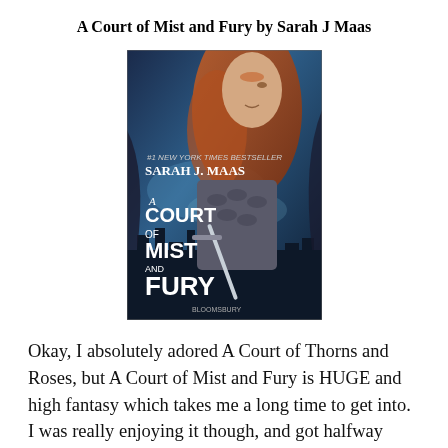A Court of Mist and Fury by Sarah J Maas
[Figure (photo): Book cover of 'A Court of Mist and Fury' by Sarah J. Maas. Shows a young woman with long auburn hair wearing ornate silver armor, holding a sword, against a blue background with dark castle silhouettes. Text reads '#1 New York Times Bestseller', 'Sarah J. Maas', 'A Court of Mist and Fury', 'Bloomsbury'.]
Okay, I absolutely adored A Court of Thorns and Roses, but A Court of Mist and Fury is HUGE and high fantasy which takes me a long time to get into. I was really enjoying it though, and got halfway before I just put it down and never picked it up